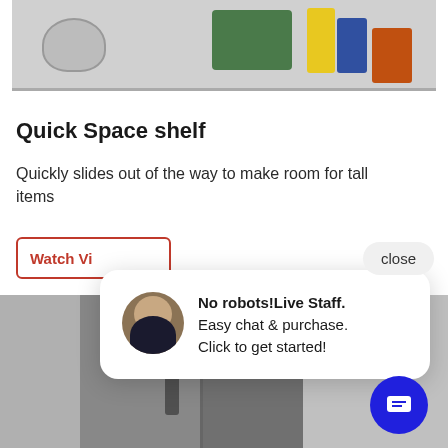[Figure (photo): Top portion of a refrigerator interior showing a shelf with food items including a bowl, green vegetables, and containers]
Quick Space shelf
Quickly slides out of the way to make room for tall items
[Figure (screenshot): Watch Video button partially visible with red border]
[Figure (photo): Bottom portion of a refrigerator exterior showing stainless steel doors]
[Figure (screenshot): Live chat popup with avatar photo showing 'No robots!Live Staff. Easy chat & purchase. Click to get started!' and close button]
[Figure (screenshot): Blue circular chat button with message icon in bottom right corner]